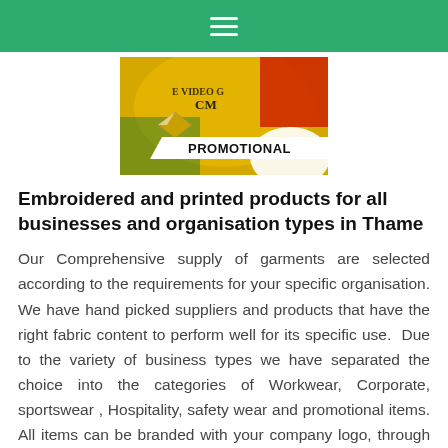Navigation bar with hamburger menu
[Figure (photo): Promotional image showing colorful branded items with a white banner overlay reading PROMOTIONAL]
Embroidered and printed products for all businesses and organisation types in Thame
Our Comprehensive supply of garments are selected according to the requirements for your specific organisation. We have hand picked suppliers and products that have the right fabric content to perform well for its specific use.  Due to the variety of business types we have separated the choice into the categories of Workwear, Corporate, sportswear , Hospitality, safety wear and promotional items. All items can be branded with your company logo, through our in-house embroidery and printing processes. Many of our main items and best selling products can be viewed at our showroom located just a 10